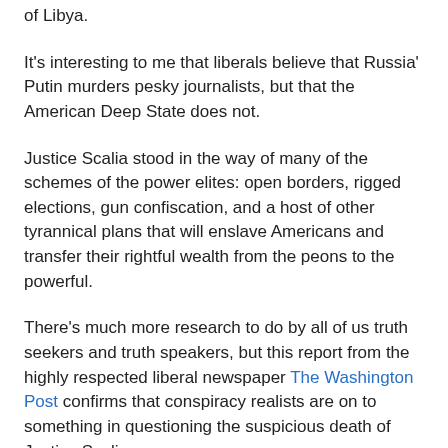of Libya.
It's interesting to me that liberals believe that Russia' Putin murders pesky journalists, but that the American Deep State does not.
Justice Scalia stood in the way of many of the schemes of the power elites: open borders, rigged elections, gun confiscation, and a host of other tyrannical plans that will enslave Americans and transfer their rightful wealth from the peons to the powerful.
There's much more research to do by all of us truth seekers and truth speakers, but this report from the highly respected liberal newspaper The Washington Post confirms that conspiracy realists are on to something in questioning the suspicious death of Justice Scalia.
Yet as details of his sudden death trickled in Sunday, it appeared that the hours afterward were anything but